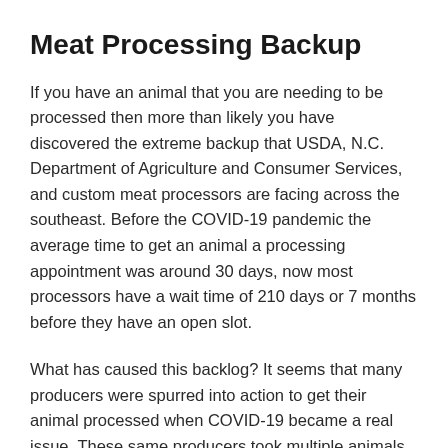Meat Processing Backup
If you have an animal that you are needing to be processed then more than likely you have discovered the extreme backup that USDA, N.C. Department of Agriculture and Consumer Services, and custom meat processors are facing across the southeast. Before the COVID-19 pandemic the average time to get an animal a processing appointment was around 30 days, now most processors have a wait time of 210 days or 7 months before they have an open slot.
What has caused this backlog? It seems that many producers were spurred into action to get their animal processed when COVID-19 became a real issue. These same producers took multiple animals in when typically they take in on average of one animal per